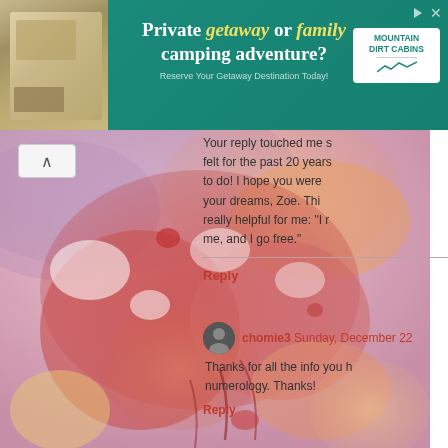[Figure (photo): Advertisement banner for Mountain Dirt Cabins: 'Private getaway or family camping adventure?' with teal background and cabin photo]
[Figure (illustration): Watercolor painting with red, orange, pink, and purple abstract floral/fluid shapes on left side of page]
Your reply touched me so much. I felt for the past 20 years what I had to do! I hope you were following your dreams, Zoe. This has been really helpful for me: "I r... me, and I go free."
Reply
chomie3  Sunday, December 22
Thanks for all the info you h... numerology. Thanks!
Reply
Unknown  Wednesday, January
i'm karess 25 from Phillippines,